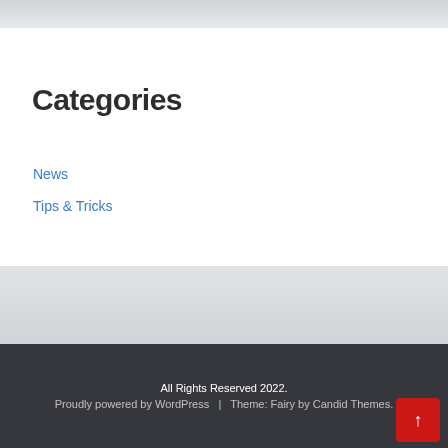Categories
News
Tips & Tricks
All Rights Reserved 2022. Proudly powered by WordPress | Theme: Fairy by Candid Themes.